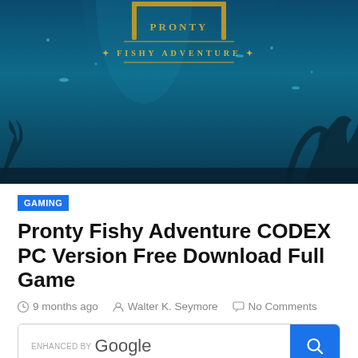[Figure (illustration): Game banner for Pronty Fishy Adventure — underwater scene with teal/blue ocean background, coral silhouettes, fish, and golden decorative title text reading 'FISHY ADVENTURE']
GAMING
Pronty Fishy Adventure CODEX PC Version Free Download Full Game
9 months ago   Walter K. Seymore   No Comments
[Figure (screenshot): ENHANCED BY Google search box with blue search button]
For windows single direct link is available to download Pronty Fishy Adventure CODEX PC Version. This game has amazing action and adventure.